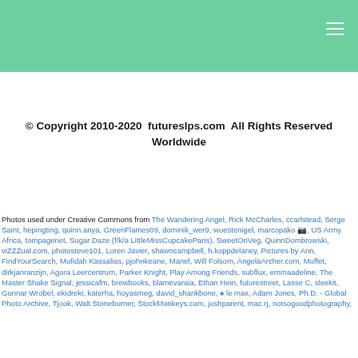© Copyright 2010-2020  futureslps.com  All Rights Reserved Worldwide
Photos used under Creative Commons from The Wandering Angel, Rick McCharles, ccarlstead, Serge Saint, hepingting, quinn.anya, GreenFlames09, dominik_wer9, wuestenigel, marcopako ?, US Army Africa, tompagenet, Sugar Daze (f/k/a LittleMissCupcakeParis), SweetOnVeg, QuinnDombrowski, viZZZual.com, photosteve101, Loren Javier, shawncampbell, h.koppdelaney, Pictures by Ann, FindYourSearch, Mufidah Kassalias, pjohnkeane, Manel, Will Folsom, AngelaArcher.com, Muffet, dirkjanranzijn, Agora Leercentrum, Parker Knight, Play Among Friends, subflux, emmaadeline, The Master Shake Signal, jessicafm, brewbooks, blamevaraia, Ethan Hein, futurestreet, Lasse C, sleekit, Gunnar Wrobel, ekidreki, katerha, hoyasmeg, david_shankbone, ♠ le max, Adam Jones, Ph.D. - Global Photo Archive, Tjook, Walt Stoneburner, StockMonkeys.com, joshparent, mac.rj, notsogoodphotography,